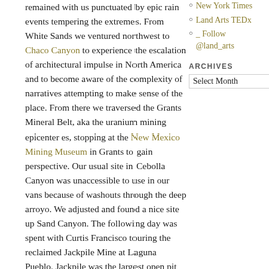remained with us punctuated by epic rain events tempering the extremes. From White Sands we ventured northwest to Chaco Canyon to experience the escalation of architectural impulse in North America and to become aware of the complexity of narratives attempting to make sense of the place. From there we traversed the Grants Mineral Belt, aka the uranium mining epicenter es, stopping at the New Mexico Mining Museum in Grants to gain perspective. Our usual site in Cebolla Canyon was unaccessible to use in our vans because of washouts through the deep arroyo. We adjusted and found a nice site up Sand Canyon. The following day was spent with Curtis Francisco touring the reclaimed Jackpile Mine at Laguna Pueblo. Jackpile was the largest open pit uranium mine from the mid 1950's until the 1980's. Ground water contamination continues to be among a host of issues and Curtis was encouraged to tell of recent traction towards Superfund status.
New York Times
Land Arts TEDx
_ Follow @land_arts
ARCHIVES
Select Month
Our next top was another adjustment. As we departed